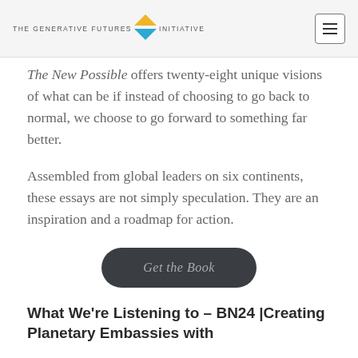THE GENERATIVE FUTURES INITIATIVE
The New Possible offers twenty-eight unique visions of what can be if instead of choosing to go back to normal, we choose to go forward to something far better.
Assembled from global leaders on six continents, these essays are not simply speculation. They are an inspiration and a roadmap for action.
Get the Book
What We're Listening to – BN24 |Creating Planetary Embassies with